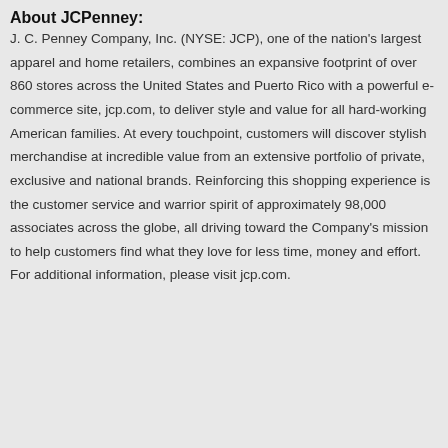About JCPenney:
J. C. Penney Company, Inc. (NYSE: JCP), one of the nation's largest apparel and home retailers, combines an expansive footprint of over 860 stores across the United States and Puerto Rico with a powerful e-commerce site, jcp.com, to deliver style and value for all hard-working American families. At every touchpoint, customers will discover stylish merchandise at incredible value from an extensive portfolio of private, exclusive and national brands. Reinforcing this shopping experience is the customer service and warrior spirit of approximately 98,000 associates across the globe, all driving toward the Company's mission to help customers find what they love for less time, money and effort. For additional information, please visit jcp.com.